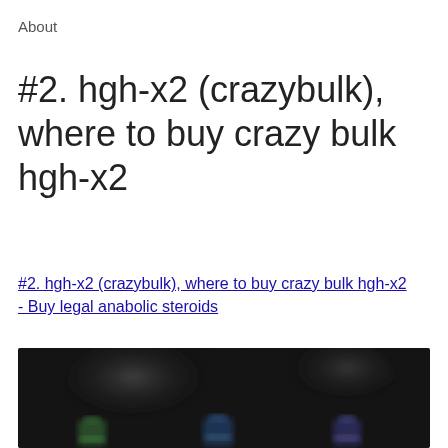About
#2. hgh-x2 (crazybulk), where to buy crazy bulk hgh-x2
#2. hgh-x2 (crazybulk), where to buy crazy bulk hgh-x2 - Buy legal anabolic steroids
[Figure (photo): Blurred dark product image showing supplement bottles at the bottom against a dark background with blurred figures]